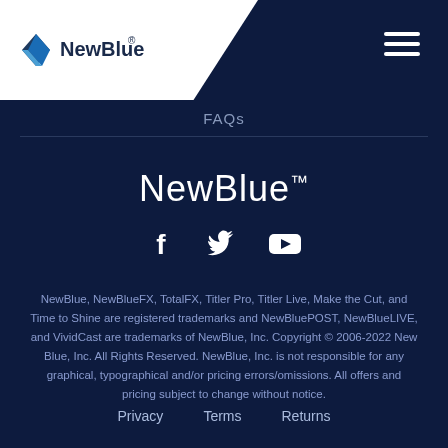NewBlue logo and navigation header
FAQs
NewBlue™
[Figure (illustration): Social media icons: Facebook, Twitter, YouTube]
NewBlue, NewBlueFX, TotalFX, Titler Pro, Titler Live, Make the Cut, and Time to Shine are registered trademarks and NewBluePOST, NewBlueLIVE, and VividCast are trademarks of NewBlue, Inc. Copyright © 2006-2022 New Blue, Inc. All Rights Reserved. NewBlue, Inc. is not responsible for any graphical, typographical and/or pricing errors/omissions. All offers and pricing subject to change without notice.
Privacy   Terms   Returns